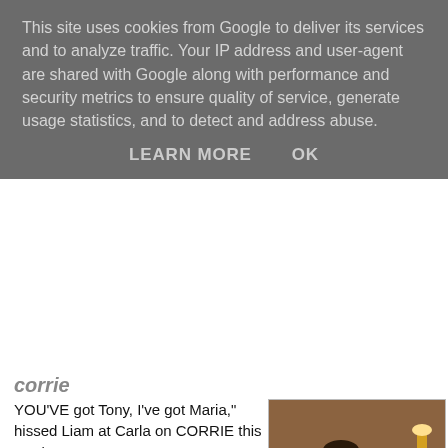This site uses cookies from Google to deliver its services and to analyze traffic. Your IP address and user-agent are shared with Google along with performance and security metrics to ensure quality of service, generate usage statistics, and to detect and address abuse.
LEARN MORE   OK
corrie
[Figure (photo): A shirtless man sitting up in bed, with a woman in a white robe sitting behind him reading something, in what appears to be a hotel room.]
YOU'VE got Tony, I've got Maria," hissed Liam at Carla on CORRIE this week. It's a shame we're not casting for West Side Story then, isn't it? Although probably boggle-eyed Tone and twirly airhead Maria wouldn't be our first choice as star-cross'd leads. Liam would probably get a look-in, though, and indeed he is set for a tragic end next week. We're a little bit cross about this. Couldn't they have left the door open for a Liam comeback rather than executing another Connor? Michelle